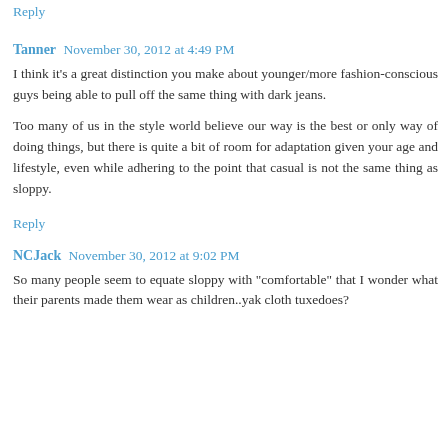Reply
Tanner  November 30, 2012 at 4:49 PM
I think it's a great distinction you make about younger/more fashion-conscious guys being able to pull off the same thing with dark jeans.

Too many of us in the style world believe our way is the best or only way of doing things, but there is quite a bit of room for adaptation given your age and lifestyle, even while adhering to the point that casual is not the same thing as sloppy.
Reply
NCJack  November 30, 2012 at 9:02 PM
So many people seem to equate sloppy with "comfortable" that I wonder what their parents made them wear as children..yak cloth tuxedoes?